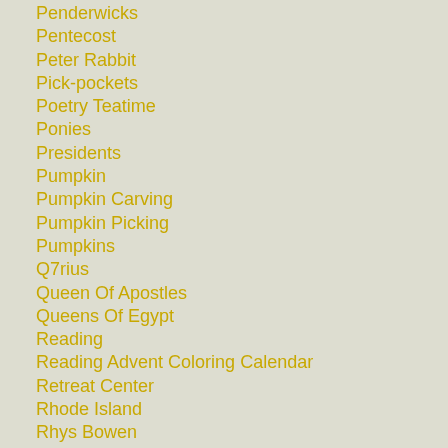Penderwicks
Pentecost
Peter Rabbit
Pick-pockets
Poetry Teatime
Ponies
Presidents
Pumpkin
Pumpkin Carving
Pumpkin Picking
Pumpkins
Q7rius
Queen Of Apostles
Queens Of Egypt
Reading
Reading Advent Coloring Calendar
Retreat Center
Rhode Island
Rhys Bowen
Rice Balls
River Farm Gardens
Roger Williams Park